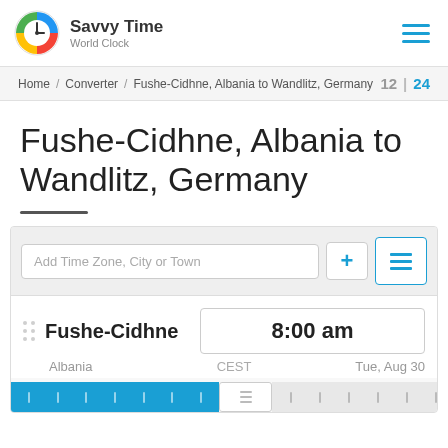Savvy Time World Clock
Home / Converter / Fushe-Cidhne, Albania to Wandlitz, Germany  12 | 24
Fushe-Cidhne, Albania to Wandlitz, Germany
Add Time Zone, City or Town
Fushe-Cidhne   8:00 am
Albania   CEST   Tue, Aug 30